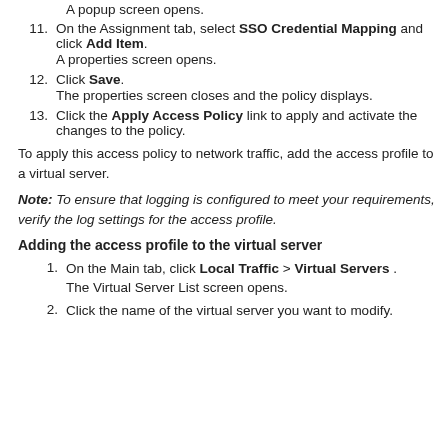A popup screen opens.
11. On the Assignment tab, select SSO Credential Mapping and click Add Item. A properties screen opens.
12. Click Save. The properties screen closes and the policy displays.
13. Click the Apply Access Policy link to apply and activate the changes to the policy.
To apply this access policy to network traffic, add the access profile to a virtual server.
Note: To ensure that logging is configured to meet your requirements, verify the log settings for the access profile.
Adding the access profile to the virtual server
1. On the Main tab, click Local Traffic > Virtual Servers . The Virtual Server List screen opens.
2. Click the name of the virtual server you want to modify.